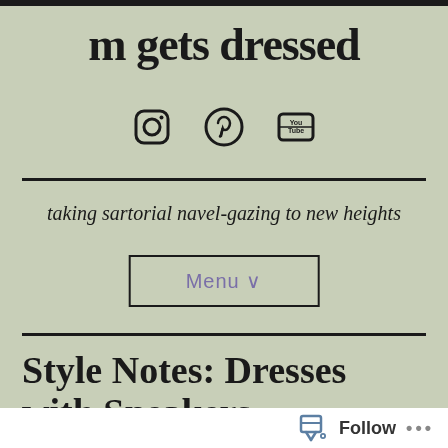m gets dressed
[Figure (other): Social media icons: Instagram, Pinterest, YouTube]
taking sartorial navel-gazing to new heights
Menu ∨
Style Notes: Dresses with Sneakers
Follow ...